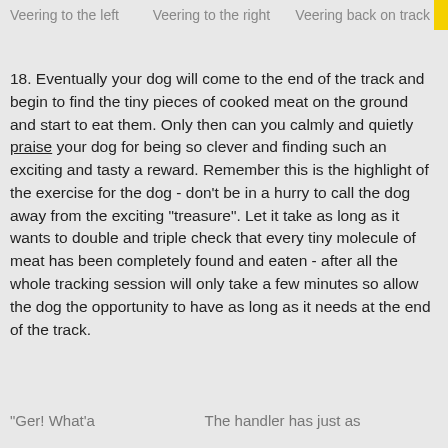Veering to the left	Veering to the right	Veering back on track
18. Eventually your dog will come to the end of the track and begin to find the tiny pieces of cooked meat on the ground and start to eat them. Only then can you calmly and quietly praise your dog for being so clever and finding such an exciting and tasty a reward. Remember this is the highlight of the exercise for the dog - don't be in a hurry to call the dog away from the exciting "treasure". Let it take as long as it wants to double and triple check that every tiny molecule of meat has been completely found and eaten - after all the whole tracking session will only take a few minutes so allow the dog the opportunity to have as long as it needs at the end of the track.
"Ger! What's...	The handler has just as